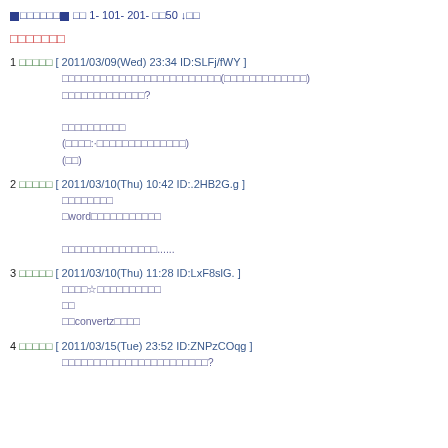■□□□□□□■ □□ 1- 101- 201- □□50 ↓□□
□□□□□□□
1 □□□□□ [ 2011/03/09(Wed) 23:34 ID:SLFj/fWY ]
□□□□□□□□□□□□□□□□□□□□□□□□□(□□□□□□□□□□□□□)
□□□□□□□□□□□□□?

□□□□□□□□□□
(□□□□:·□□□□□□□□□□□□□□)
(□□)
2 □□□□□ [ 2011/03/10(Thu) 10:42 ID:.2HB2G.g ]
□□□□□□□□
□word□□□□□□□□□□□

□□□□□□□□□□□□□□□......
3 □□□□□ [ 2011/03/10(Thu) 11:28 ID:LxF8slG. ]
□□□□☆□□□□□□□□□□
□□
□□convertz□□□□
4 □□□□□ [ 2011/03/15(Tue) 23:52 ID:ZNPzCOqg ]
□□□□□□□□□□□□□□□□□□□□□□□?